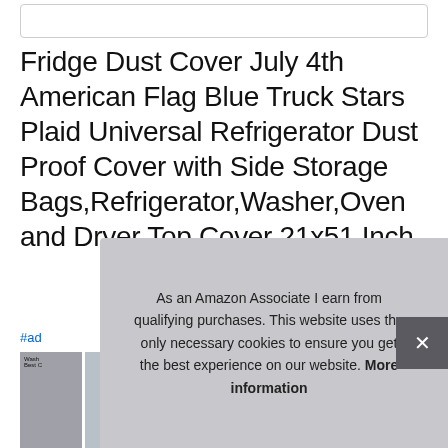[Figure (screenshot): Search bar at top of page]
Fridge Dust Cover July 4th American Flag Blue Truck Stars Plaid Universal Refrigerator Dust Proof Cover with Side Storage Bags,Refrigerator,Washer,Oven and Dryer Top Cover 21x51 Inch
#ad
[Figure (photo): Product image strip showing fridge dust covers with plaid/flag pattern]
As an Amazon Associate I earn from qualifying purchases. This website uses the only necessary cookies to ensure you get the best experience on our website. More information